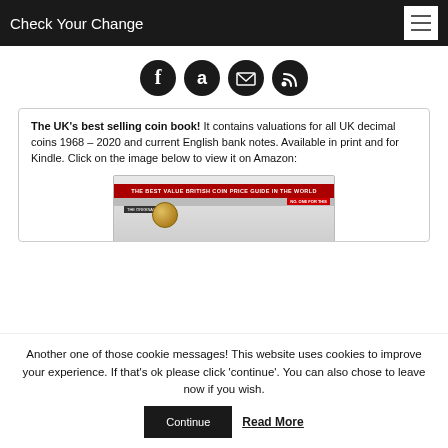Check Your Change
[Figure (illustration): Four circular social media icons: Facebook (f), Amazon (a), Email (envelope), RSS (wifi signal) — all black circles with white icons]
The UK's best selling coin book! It contains valuations for all UK decimal coins 1968 – 2020 and current English bank notes. Available in print and for Kindle. Click on the image below to view it on Amazon:
[Figure (photo): A book cover showing 'THE BEST VALUE BRITISH COIN PRICE GUIDE IN THE WORLD' with a red banner, coin image, and 'THE ORIGINAL' label]
Another one of those cookie messages! This website uses cookies to improve your experience. If that's ok please click 'continue'. You can also chose to leave now if you wish.